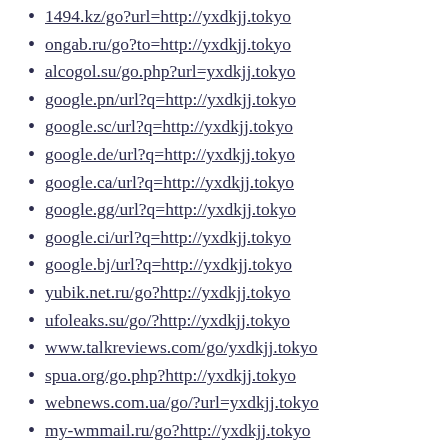1494.kz/go?url=http://yxdkjj.tokyo
ongab.ru/go?to=http://yxdkjj.tokyo
alcogol.su/go.php?url=yxdkjj.tokyo
google.pn/url?q=http://yxdkjj.tokyo
google.sc/url?q=http://yxdkjj.tokyo
google.de/url?q=http://yxdkjj.tokyo
google.ca/url?q=http://yxdkjj.tokyo
google.gg/url?q=http://yxdkjj.tokyo
google.ci/url?q=http://yxdkjj.tokyo
google.bj/url?q=http://yxdkjj.tokyo
yubik.net.ru/go?http://yxdkjj.tokyo
ufoleaks.su/go/?http://yxdkjj.tokyo
www.talkreviews.com/go/yxdkjj.tokyo
spua.org/go.php?http://yxdkjj.tokyo
webnews.com.ua/go/?url=yxdkjj.tokyo
my-wmmail.ru/go?http://yxdkjj.tokyo
nafretiri.ru/go?http://yxdkjj.tokyo
www.mueritz.de/extLink/yxdkjj.tokyo
ww4.cef.es/trk/r.emt?h=yxdkjj.tokyo